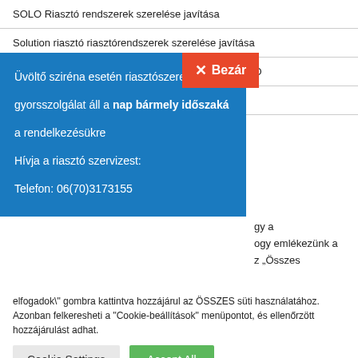SOLO Riasztó rendszerek szerelése javítása
Solution riasztó riasztórendszerek szerelése javítása
SPECTRA-MAGELLAN FELHASZNÁLÓI ÚTMUTATÓ
Telepítőknek és fejlesztőknek!
[Figure (screenshot): Blue popup overlay with close button. Contains text: Üvöltő sziréna esetén riasztószerelő gyorsszolgálat áll a nap bármely időszaká... a rendelkezésükre. Hívja a riasztó szervizest: Telefon: 06(70)3173155. Red 'Bezár' (close) button in top right.]
gy a ogy emlékezünk a z „Összes
elfogadok" gombra kattintva hozzájárul az ÖSSZES süti használatához. Azonban felkeresheti a "Cookie-beállítások" menüpontot, és ellenőrzött hozzájárulást adhat.
Cookie Settings | Accept All